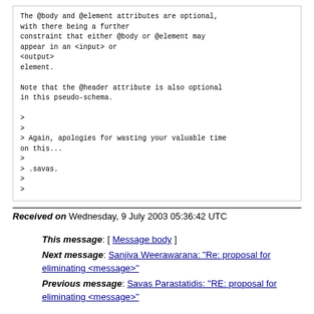The @body and @element attributes are optional, with there being a further constraint that either @body or @element may appear in an <input> or <output> element.

Note that the @header attribute is also optional in this pseudo-schema.

>
>
> Again, apologies for wasting your valuable time on this...
>
> .savas.
>
>
Received on Wednesday, 9 July 2003 05:36:42 UTC
This message: [ Message body ]
Next message: Sanjiva Weerawarana: "Re: proposal for eliminating <message>"
Previous message: Savas Parastatidis: "RE: proposal for eliminating <message>"